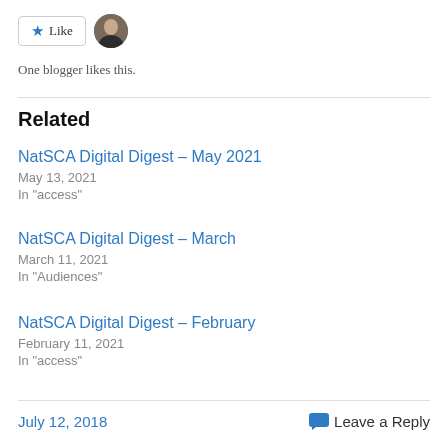[Figure (other): Like button with star icon and a user avatar thumbnail]
One blogger likes this.
Related
NatSCA Digital Digest – May 2021
May 13, 2021
In "access"
NatSCA Digital Digest – March
March 11, 2021
In "Audiences"
NatSCA Digital Digest – February
February 11, 2021
In "access"
July 12, 2018   Leave a Reply